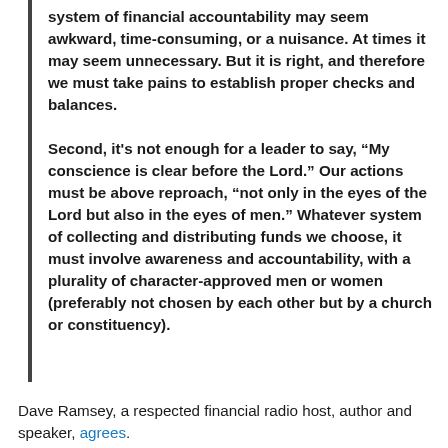system of financial accountability may seem awkward, time-consuming, or a nuisance. At times it may seem unnecessary. But it is right, and therefore we must take pains to establish proper checks and balances.

Second, it's not enough for a leader to say, “My conscience is clear before the Lord.” Our actions must be above reproach, “not only in the eyes of the Lord but also in the eyes of men.” Whatever system of collecting and distributing funds we choose, it must involve awareness and accountability, with a plurality of character-approved men or women (preferably not chosen by each other but by a church or constituency).
Dave Ramsey, a respected financial radio host, author and speaker, agrees.